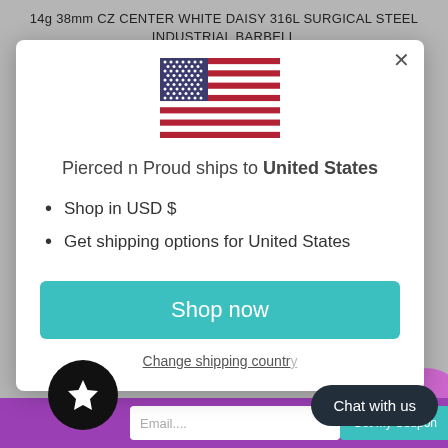14g 38mm CZ CENTER WHITE DAISY 316L SURGICAL STEEL INDUSTRIAL BARBELL
[Figure (illustration): US flag emoji/illustration centered in modal]
Pierced n Proud ships to United States
Shop in USD $
Get shipping options for United States
Shop now
Change shipping country
Chat with us
Email....
Get My Coupon